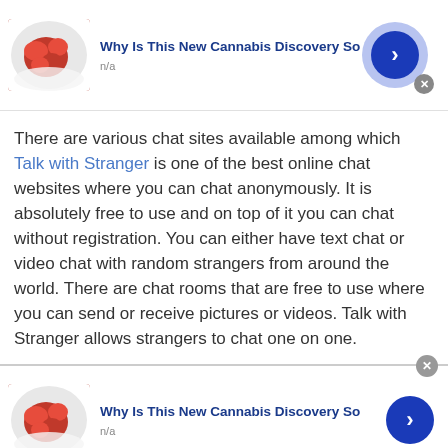[Figure (advertisement): Ad banner at top with red berry/gummy candy image, title 'Why Is This New Cannabis Discovery So', subtitle 'n/a', blue arrow button with light purple circle, close X button]
There are various chat sites available among which Talk with Stranger is one of the best online chat websites where you can chat anonymously. It is absolutely free to use and on top of it you can chat without registration. You can either have text chat or video chat with random strangers from around the world. There are chat rooms that are free to use where you can send or receive pictures or videos. Talk with Stranger allows strangers to chat one on one.
[Figure (advertisement): Ad banner at bottom with red berry/gummy candy image, title 'Why Is This New Cannabis Discovery So', subtitle 'n/a', blue arrow button, close X button at top-right]